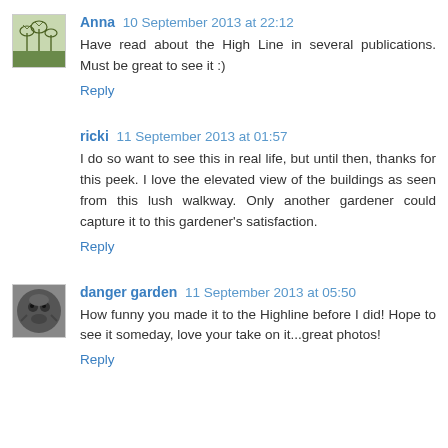Anna 10 September 2013 at 22:12
Have read about the High Line in several publications. Must be great to see it :)
Reply
ricki 11 September 2013 at 01:57
I do so want to see this in real life, but until then, thanks for this peek. I love the elevated view of the buildings as seen from this lush walkway. Only another gardener could capture it to this gardener's satisfaction.
Reply
danger garden 11 September 2013 at 05:50
How funny you made it to the Highline before I did! Hope to see it someday, love your take on it...great photos!
Reply